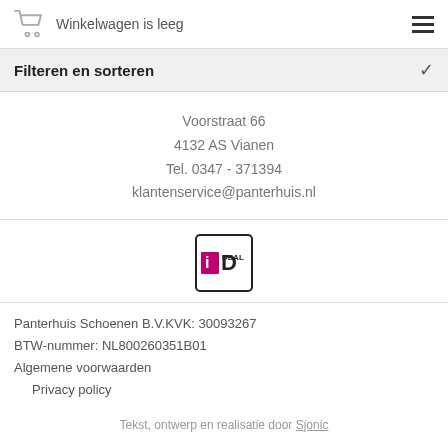Winkelwagen is leeg
Filteren en sorteren
Voorstraat 66
4132 AS Vianen
Tel. 0347 - 371394
klantenservice@panterhuis.nl
[Figure (logo): iDEAL payment logo]
Panterhuis Schoenen B.V.KVK: 30093267
BTW-nummer: NL800260351B01
Algemene voorwaarden
    Privacy policy
Tekst, ontwerp en realisatie door Sjonic